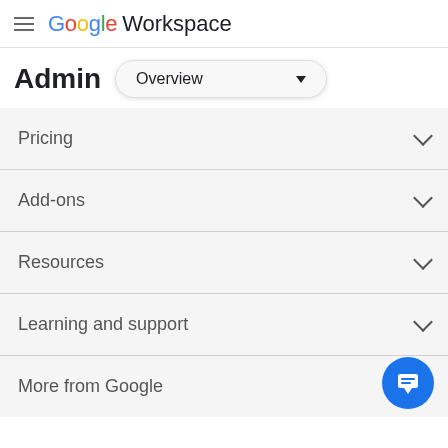Google Workspace
Admin — Overview
Pricing
Add-ons
Resources
Learning and support
More from Google